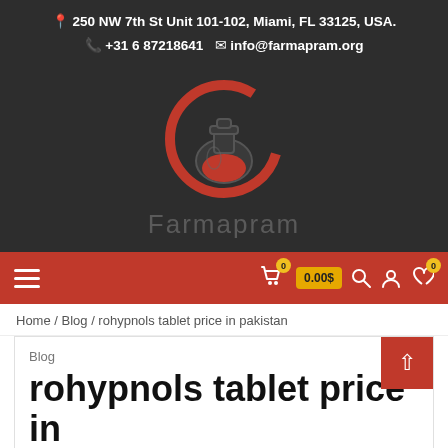250 NW 7th St Unit 101-102, Miami, FL 33125, USA. +31 6 87218641  info@farmapram.org
[Figure (logo): Farmapram logo: red arc above a dark flask/potion bottle icon, with the text 'Farmapram' below, on a dark background]
[Figure (screenshot): Red navigation bar with hamburger menu on left; cart icon with badge '0', price button '0.00$', search icon, account icon, and heart icon with badge '0' on right]
Home / Blog / rohypnols tablet price in pakistan
Blog
rohypnols tablet price in pakistan